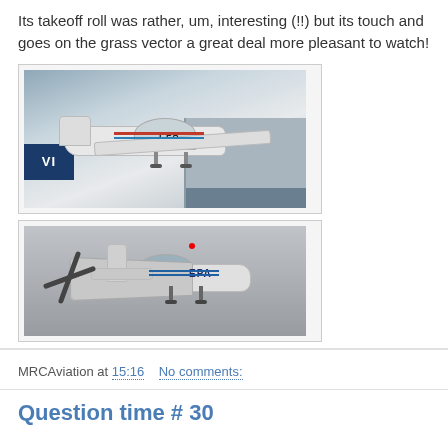Its takeoff roll was rather, um, interesting (!!) but its touch and goes on the grass vector a great deal more pleasant to watch!
[Figure (photo): White small aircraft labeled 'EPA' in flight or just after takeoff, building with 'VI' sign visible in background]
[Figure (photo): White small aircraft labeled 'EPA' in flight against grey sky, rear/side view showing propeller and landing gear]
MRCAviation at 15:16    No comments:
Question time # 30